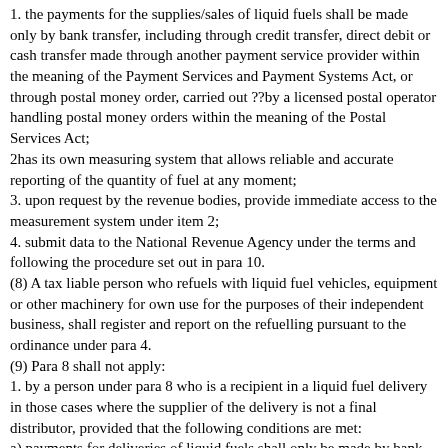1. the payments for the supplies/sales of liquid fuels shall be made only by bank transfer, including through credit transfer, direct debit or cash transfer made through another payment service provider within the meaning of the Payment Services and Payment Systems Act, or through postal money order, carried out ??by a licensed postal operator handling postal money orders within the meaning of the Postal Services Act;
2has its own measuring system that allows reliable and accurate reporting of the quantity of fuel at any moment;
3. upon request by the revenue bodies, provide immediate access to the measurement system under item 2;
4. submit data to the National Revenue Agency under the terms and following the procedure set out in para 10.
(8) A tax liable person who refuels with liquid fuel vehicles, equipment or other machinery for own use for the purposes of their independent business, shall register and report on the refuelling pursuant to the ordinance under para 4.
(9) Para 8 shall not apply:
1. by a person under para 8 who is a recipient in a liquid fuel delivery in those cases where the supplier of the delivery is not a final distributor, provided that the following conditions are met:
a) payments for deliveries of liquid fuels shall only be made by bank transfer, including through credit transfer, direct debit or cash transfer made through another payment service provider within the meaning of the Payment Services and Payment Systems Act, or through the postal money order, carried out ??by a licensed postal operator...